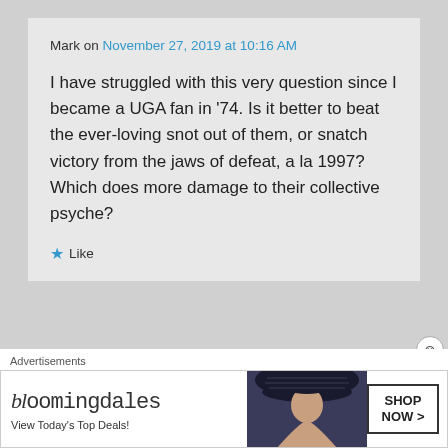Mark on November 27, 2019 at 10:16 AM
I have struggled with this very question since I became a UGA fan in '74. Is it better to beat the ever-loving snot out of them, or snatch victory from the jaws of defeat, a la 1997? Which does more damage to their collective psyche?
★ Like
Advertisements
[Figure (screenshot): Bloomingdale's advertisement banner: 'bloomingdales View Today's Top Deals!' with a woman in a wide-brim hat and a 'SHOP NOW >' button]